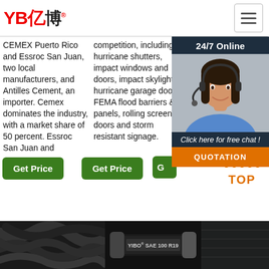[Figure (logo): YB亿博 logo in red with registered trademark symbol]
CEMEX Puerto Rico and Essroc San Juan, two local manufacturers, and Antilles Cement, an importer. Cemex dominates the industry, with a market share of 50 percent. Essroc San Juan and
competition, including: hurricane shutters, impact windows and doors, impact skylights, hurricane garage doors, FEMA flood barriers & panels, rolling screen doors and storm resistant signage.
- combustible . Shi Boa We : A t ratin
[Figure (photo): Customer service representative woman with headset in chat widget with 24/7 Online header]
Click here for free chat !
QUOTATION
Get Price
Get Price
[Figure (infographic): TOP button with orange dots forming triangle above]
[Figure (photo): Black cables/hoses image]
[Figure (photo): YIBO SAE 100 R19 hydraulic hose product image on dark background]
[Figure (photo): Partial dark image on right side]